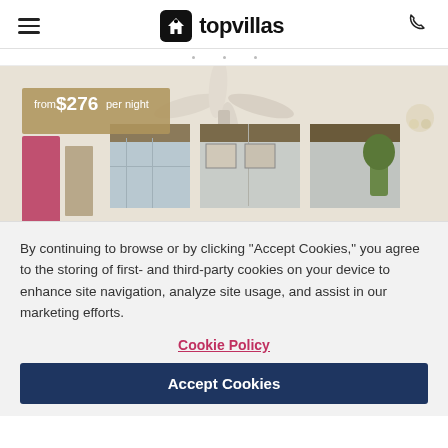topvillas
[Figure (photo): Interior room photo showing ceiling fan, decorative window valances, and living area. Price badge: from $276 per night]
By continuing to browse or by clicking “Accept Cookies,” you agree to the storing of first- and third-party cookies on your device to enhance site navigation, analyze site usage, and assist in our marketing efforts.
Cookie Policy
Accept Cookies